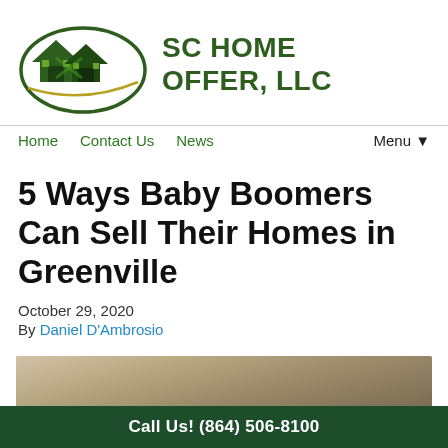[Figure (logo): SC Home Offer LLC logo with green house graphic]
SC Home Offer, LLC
Home   Contact Us   News   Menu▼
5 Ways Baby Boomers Can Sell Their Homes in Greenville
October 29, 2020
By Daniel D'Ambrosio
[Figure (photo): Partial photo of elderly people at the bottom of the article]
Call Us! (864) 506-8100